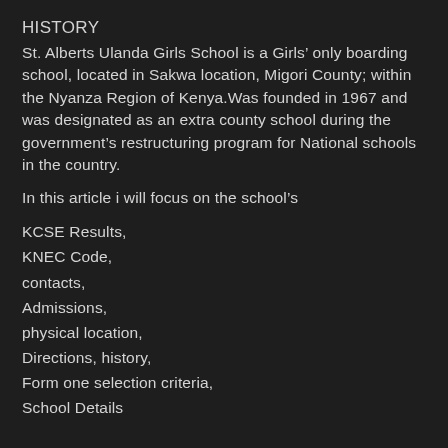HISTORY
St. Alberts Ulanda Girls School is a Girls’ only boarding school, located in Sakwa location, Migori County; within the Nyanza Region of Kenya.Was founded in 1967 and was designated as an extra county school during the government’s restructuring program for National schools in the country.
In this article i will focus on the school’s
KCSE Results,
KNEC Code,
contacts,
Admissions,
physical location,
Directions, history,
Form one selection criteria,
School Details